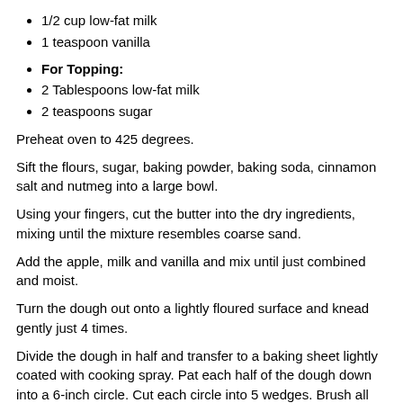1/2 cup low-fat milk
1 teaspoon vanilla
For Topping:
2 Tablespoons low-fat milk
2 teaspoons sugar
Preheat oven to 425 degrees.
Sift the flours, sugar, baking powder, baking soda, cinnamon salt and nutmeg into a large bowl.
Using your fingers, cut the butter into the dry ingredients, mixing until the mixture resembles coarse sand.
Add the apple, milk and vanilla and mix until just combined and moist.
Turn the dough out onto a lightly floured surface and knead gently just 4 times.
Divide the dough in half and transfer to a baking sheet lightly coated with cooking spray. Pat each half of the dough down into a 6-inch circle. Cut each circle into 5 wedges. Brush all wedges with milk and sprinkle evenly with sugar.
Bake for 15 minutes or until golden brown.